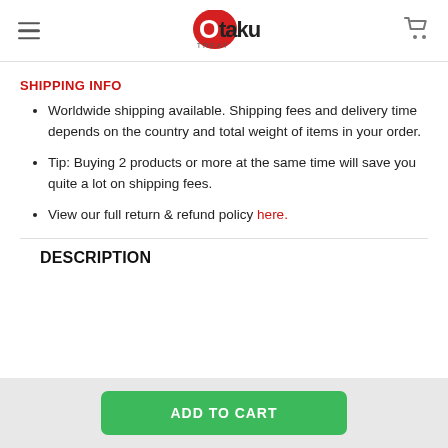OtakuTreat logo with hamburger menu and cart icon
SHIPPING INFO
Worldwide shipping available. Shipping fees and delivery time depends on the country and total weight of items in your order.
Tip: Buying 2 products or more at the same time will save you quite a lot on shipping fees.
View our full return & refund policy here.
DESCRIPTION